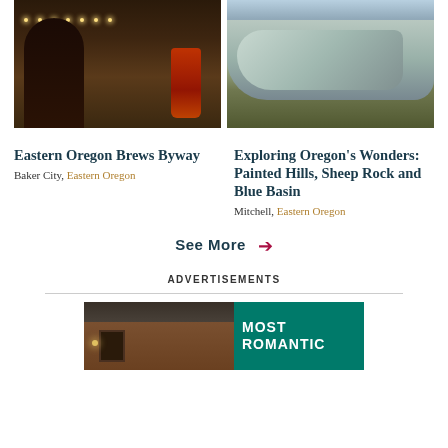[Figure (photo): Woman at a bar holding a red beer glass, bar interior background with lights]
[Figure (photo): Rocky cliff formations, likely Blue Basin area with green-grey rock, hills in background]
Eastern Oregon Brews Byway
Baker City, Eastern Oregon
Exploring Oregon's Wonders: Painted Hills, Sheep Rock and Blue Basin
Mitchell, Eastern Oregon
See More →
ADVERTISEMENTS
[Figure (photo): Advertisement banner showing a cabin/lodge building on the left and teal background with text MOST ROMANTIC on the right]